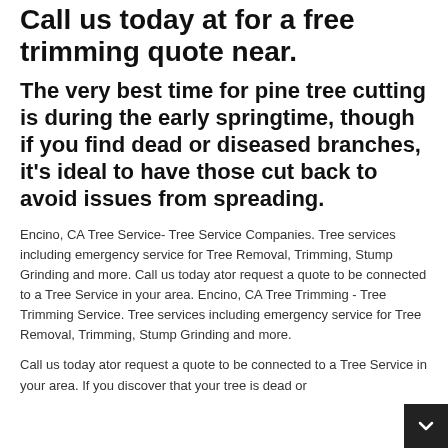Call us today at for a free trimming quote near.
The very best time for pine tree cutting is during the early springtime, though if you find dead or diseased branches, it's ideal to have those cut back to avoid issues from spreading.
Encino, CA Tree Service- Tree Service Companies. Tree services including emergency service for Tree Removal, Trimming, Stump Grinding and more. Call us today ator request a quote to be connected to a Tree Service in your area. Encino, CA Tree Trimming - Tree Trimming Service. Tree services including emergency service for Tree Removal, Trimming, Stump Grinding and more.
Call us today ator request a quote to be connected to a Tree Service in your area. If you discover that your tree is dead or